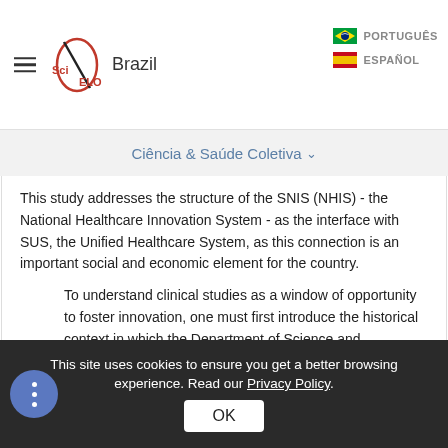SciELO Brazil | PORTUGUÊS | ESPAÑOL
Ciência & Saúde Coletiva
This study addresses the structure of the SNIS (NHIS) - the National Healthcare Innovation System - as the interface with SUS, the Unified Healthcare System, as this connection is an important social and economic element for the country.
To understand clinical studies as a window of opportunity to foster innovation, one must first introduce the historical context in which the Department of Science and Technology (Decit) was...
This site uses cookies to ensure you get a better browsing experience. Read our Privacy Policy.